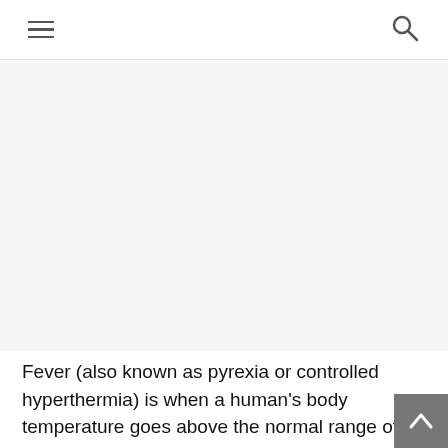Navigation bar with hamburger menu and search icon
[Figure (other): Advertisement or image placeholder area (blank/grey)]
Fever (also known as pyrexia or controlled hyperthermia) is when a human's body temperature goes above the normal range of 36-37 Centigrade (98-100 Fahrenheit) – it is a common medical sign